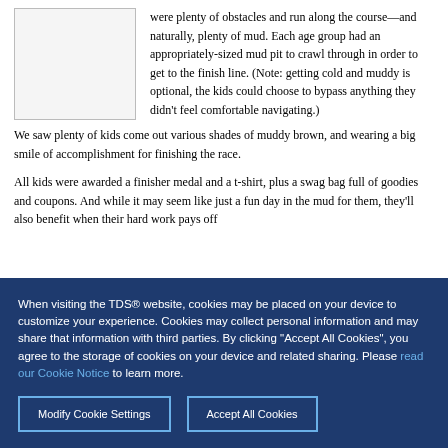were plenty of obstacles and run along the course—and naturally, plenty of mud. Each age group had an appropriately-sized mud pit to crawl through in order to get to the finish line. (Note: getting cold and muddy is optional, the kids could choose to bypass anything they didn't feel comfortable navigating.) We saw plenty of kids come out various shades of muddy brown, and wearing a big smile of accomplishment for finishing the race.
All kids were awarded a finisher medal and a t-shirt, plus a swag bag full of goodies and coupons. And while it may seem like just a fun day in the mud for them, they'll also benefit when their hard work pays off
When visiting the TDS® website, cookies may be placed on your device to customize your experience. Cookies may collect personal information and may share that information with third parties. By clicking "Accept All Cookies", you agree to the storage of cookies on your device and related sharing. Please read our Cookie Notice to learn more.